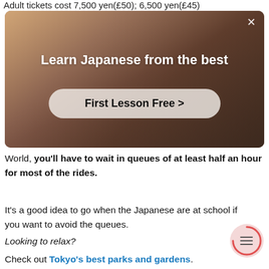Adult tickets cost 7,500 yen(£50); 6,500 yen(£45)
[Figure (photo): Advertisement banner with a person in a room, showing 'Learn Japanese from the best' with a 'First Lesson Free >' button and a close (X) button]
World, you'll have to wait in queues of at least half an hour for most of the rides.
It's a good idea to go when the Japanese are at school if you want to avoid the queues.
Looking to relax?
Check out Tokyo's best parks and gardens.